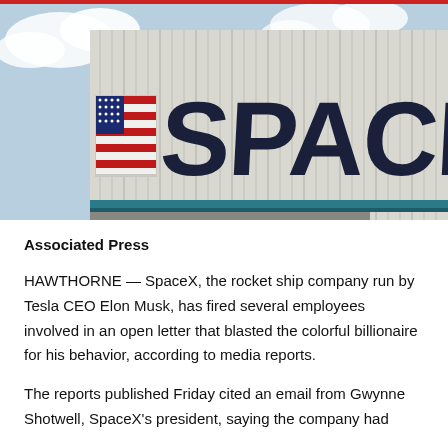[Figure (photo): Photograph of a SpaceX building/hangar with large dark blue SPACEX lettering on a corrugated metal wall. An American flag graphic is visible on the left side of the building. Blue teal trim visible along the roofline. Sky with clouds in the background.]
Associated Press
HAWTHORNE — SpaceX, the rocket ship company run by Tesla CEO Elon Musk, has fired several employees involved in an open letter that blasted the colorful billionaire for his behavior, according to media reports.
The reports published Friday cited an email from Gwynne Shotwell, SpaceX's president, saying the company had